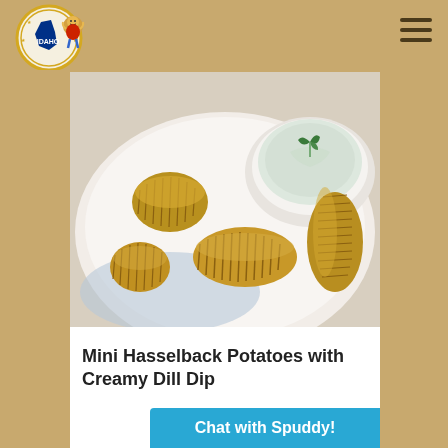[Figure (logo): Certified Idaho Potatoes logo — circular badge with potato mascot character]
[Figure (photo): Mini hasselback potatoes with accordion-cut slices arranged on a white plate, alongside a white bowl of creamy dill dip garnished with fresh dill]
Mini Hasselback Potatoes with Creamy Dill Dip
Chat with Spuddy!